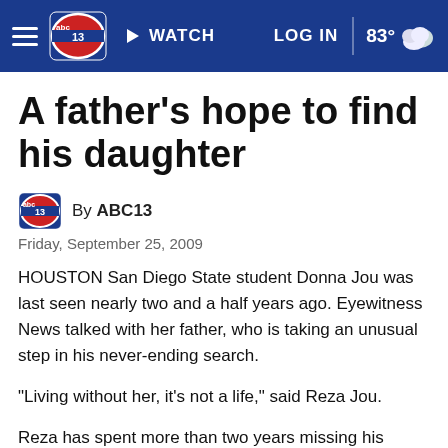abc13 | WATCH | LOG IN | 83°
A father's hope to find his daughter
By ABC13
Friday, September 25, 2009
HOUSTON San Diego State student Donna Jou was last seen nearly two and a half years ago. Eyewitness News talked with her father, who is taking an unusual step in his never-ending search.
"Living without her, it's not a life," said Reza Jou.
Reza has spent more than two years missing his daughter,